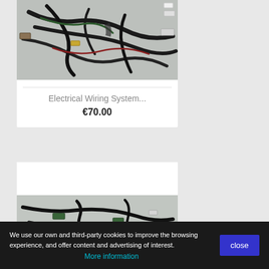[Figure (photo): Photo of a tangled automotive electrical wiring harness with multiple colored connectors on a light surface]
Electrical Wiring System...
€70.00
[Figure (photo): Photo of another automotive electrical wiring harness with connectors on a light surface]
We use our own and third-party cookies to improve the browsing experience, and offer content and advertising of interest.
More information